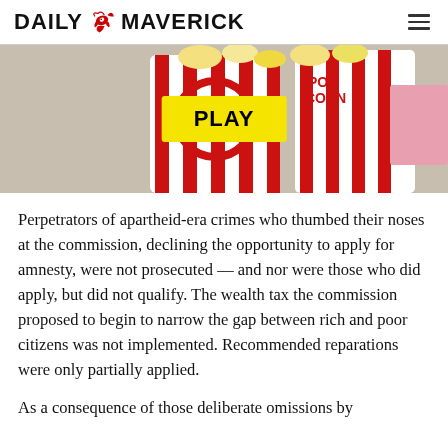DAILY MAVERICK
[Figure (photo): Popcorn bucket with red and white stripes, featuring a yellow PLAY button overlay in the center]
Perpetrators of apartheid-era crimes who thumbed their noses at the commission, declining the opportunity to apply for amnesty, were not prosecuted — and nor were those who did apply, but did not qualify. The wealth tax the commission proposed to begin to narrow the gap between rich and poor citizens was not implemented. Recommended reparations were only partially applied.
As a consequence of those deliberate omissions by